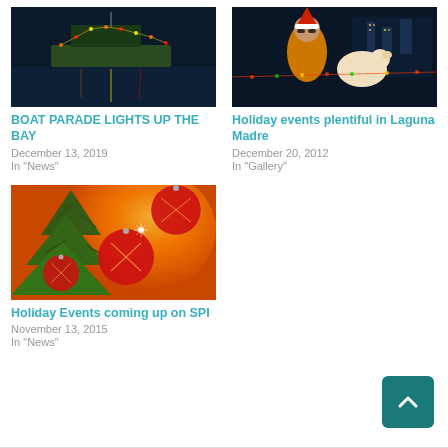[Figure (photo): Boat decorated with Christmas lights reflected on water at night]
BOAT PARADE LIGHTS UP THE BAY
December 13, 2019
In "News"
[Figure (photo): Woman in Christmas hat with dog surrounded by lights at night]
Holiday events plentiful in Laguna Madre
December 20, 2012
In "Gallery"
[Figure (photo): Christmas ornaments on green tree with orange glowing background]
Holiday Events coming up on SPI
November 13, 2015
In "News"